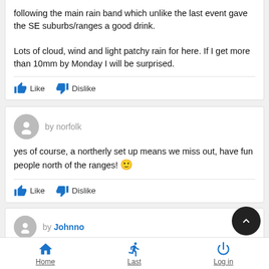following the main rain band which unlike the last event gave the SE suburbs/ranges a good drink.

Lots of cloud, wind and light patchy rain for here. If I get more than 10mm by Monday I will be surprised.
Like  Dislike
by norfolk
yes of course, a northerly set up means we miss out, have fun people north of the ranges! 🙂
Like  Dislike
by Johnno
Home  Last  Log in